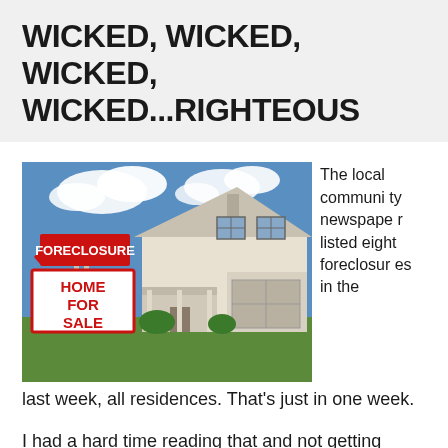WICKED, WICKED, WICKED, WICKED...RIGHTEOUS
[Figure (photo): A house with a foreclosure sign and a 'Home For Sale' sign in the front yard, against a blue sky with clouds.]
The local community newspaper listed eight foreclosures in the last week, all residences. That's just in one week.
I had a hard time reading that and not getting misty-eyed. Eight families, no home.
At that rate, we'll have 416 foreclosures in